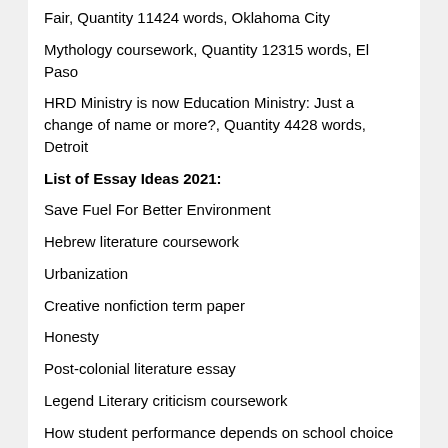Fair, Quantity 11424 words, Oklahoma City
Mythology coursework, Quantity 12315 words, El Paso
HRD Ministry is now Education Ministry: Just a change of name or more?, Quantity 4428 words, Detroit
List of Essay Ideas 2021:
Save Fuel For Better Environment
Hebrew literature coursework
Urbanization
Creative nonfiction term paper
Honesty
Post-colonial literature essay
Legend Literary criticism coursework
How student performance depends on school choice
Hebrew literature coursework
West Indian literature coursework